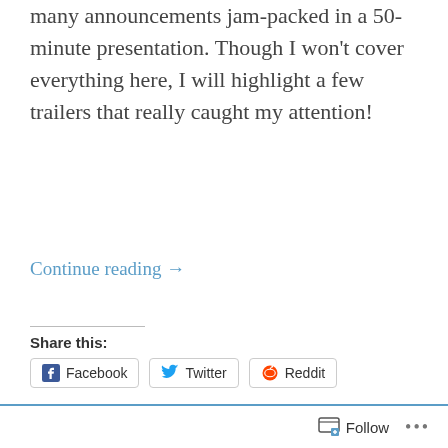many announcements jam-packed in a 50-minute presentation. Though I won't cover everything here, I will highlight a few trailers that really caught my attention!
Continue reading →
Share this:
Like
3 bloggers like this.
dc super hero girls teen power, legend of zelda skyward sword, mario golf super rush, nintendo switch, project triangle strategy,
Follow